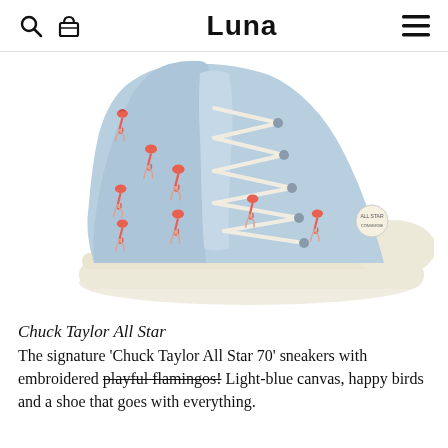Luna
[Figure (photo): A light-blue Converse Chuck Taylor All Star 70 high-top sneaker with embroidered pink flamingo pattern all over the canvas upper, cream/off-white sole and laces, photographed on white background from the side.]
Chuck Taylor All Star
The signature ‘Chuck Taylor All Star 70’ sneakers with embroidered playful flamingos! Light-blue canvas, happy birds and a shoe that goes with everything.